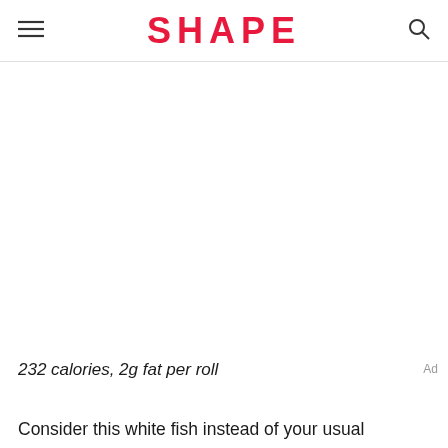SHAPE
232 calories, 2g fat per roll
Consider this white fish instead of your usual